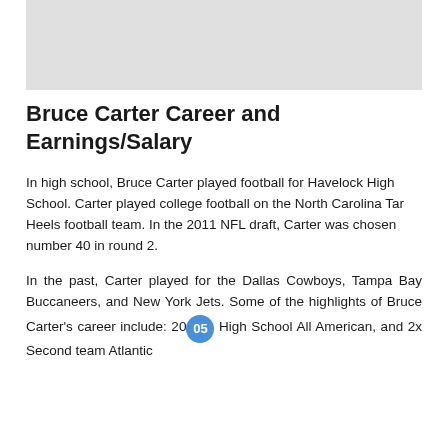[Figure (photo): Gray placeholder image area at the top of the page]
Bruce Carter Career and Earnings/Salary
In high school, Bruce Carter played football for Havelock High School. Carter played college football on the North Carolina Tar Heels football team. In the 2011 NFL draft, Carter was chosen number 40 in round 2.
In the past, Carter played for the Dallas Cowboys, Tampa Bay Buccaneers, and New York Jets. Some of the highlights of Bruce Carter's career include: 2005 High School All American, and 2x Second team Atlantic